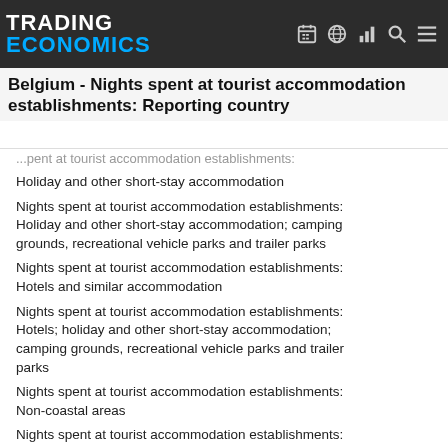TRADING ECONOMICS
Belgium - Nights spent at tourist accommodation establishments: Reporting country
Nights spent at tourist accommodation establishments: Holiday and other short-stay accommodation
Nights spent at tourist accommodation establishments: Holiday and other short-stay accommodation; camping grounds, recreational vehicle parks and trailer parks
Nights spent at tourist accommodation establishments: Hotels and similar accommodation
Nights spent at tourist accommodation establishments: Hotels; holiday and other short-stay accommodation; camping grounds, recreational vehicle parks and trailer parks
Nights spent at tourist accommodation establishments: Non-coastal areas
Nights spent at tourist accommodation establishments: Reporting country
Nights spent at tourist accommodation establishments: Rural areas